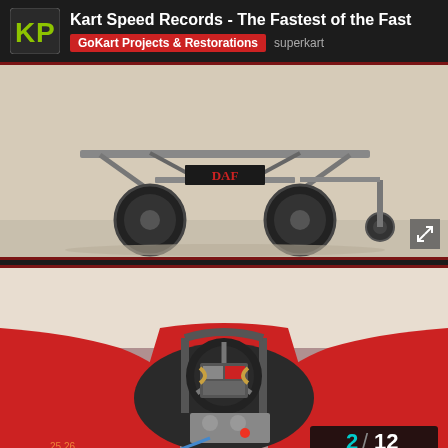Kart Speed Records - The Fastest of the Fast | GoKart Projects & Restorations  superkart
[Figure (photo): Low-angle view of a streamlined kart chassis frame on a flat surface, with 'DAF' text visible on the cross-member, featuring bicycle-type tires and small castor wheel at rear]
[Figure (photo): Cockpit view from behind a red streamlined superkart/land speed record vehicle, showing steering wheel, instrument panel, roll cage tubes, engine components, and bodywork from above]
2 / 12